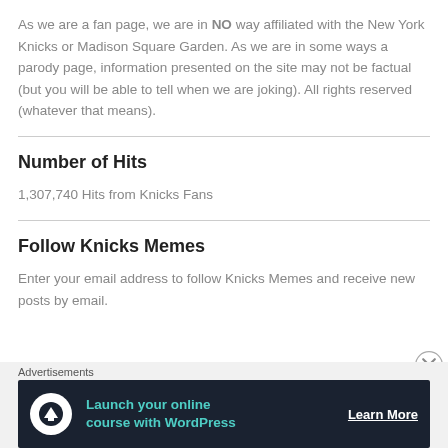As we are a fan page, we are in NO way affiliated with the New York Knicks or Madison Square Garden. As we are in some ways a parody page, information presented on the site may not be factual (but you will be able to tell when we are joking). All rights reserved (whatever that means).
Number of Hits
1,307,740 Hits from Knicks Fans
Follow Knicks Memes
Enter your email address to follow Knicks Memes and receive new posts by email.
Advertisements
[Figure (infographic): Advertisement banner: Launch your online course with WordPress — Learn More button, dark navy background with teal text and arrow/upload icon]